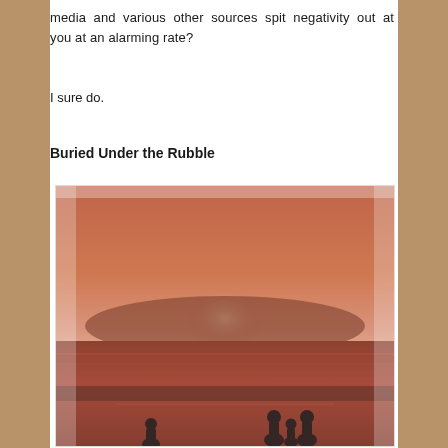media and various other sources spit negativity out at you at an alarming rate?
I sure do.
Buried Under the Rubble
[Figure (illustration): A painting showing silhouettes of people standing near a body of water at sunset/dusk, with warm reddish-orange tones covering the sky and water surface.]